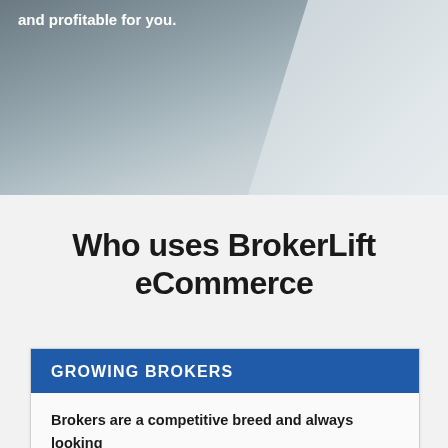[Figure (photo): Background photo of a person or surface, partially visible, with overlaid white bold text at top left.]
and profitable for you.
Who uses BrokerLift eCommerce
GROWING BROKERS
Brokers are a competitive breed and always looking for an edge over their Direct competitors.